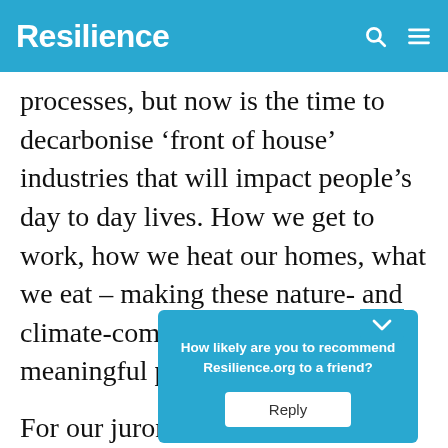Resilience
processes, but now is the time to decarbonise ‘front of house’ industries that will impact people’s day to day lives. How we get to work, how we heat our homes, what we eat – making these nature- and climate-compatible will require meaningful public consultation.
For our jurors, it was often a re…ion to see an… their local a… ard
How likely are you to recommend Resilience.org to a friend?
Reply